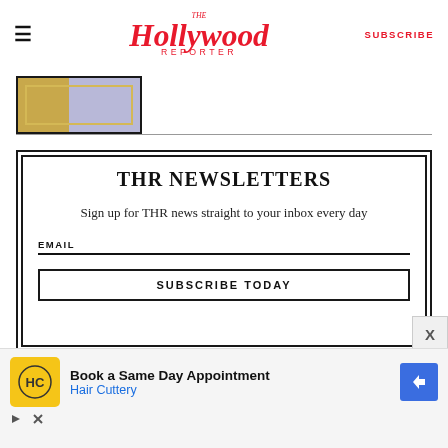The Hollywood Reporter - SUBSCRIBE
[Figure (photo): Partial thumbnail image of a framed artwork with gold and lavender blue background]
THR NEWSLETTERS
Sign up for THR news straight to your inbox every day
EMAIL
SUBSCRIBE TODAY
[Figure (infographic): Advertisement: Book a Same Day Appointment - Hair Cuttery]